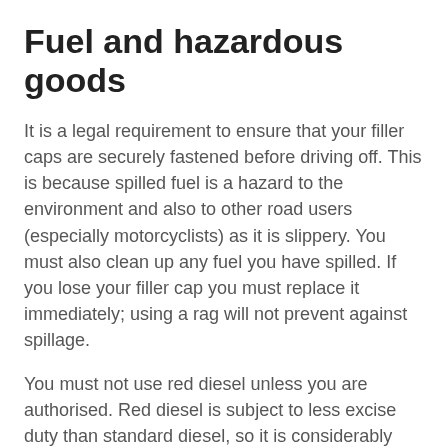Fuel and hazardous goods
It is a legal requirement to ensure that your filler caps are securely fastened before driving off. This is because spilled fuel is a hazard to the environment and also to other road users (especially motorcyclists) as it is slippery. You must also clean up any fuel you have spilled. If you lose your filler cap you must replace it immediately; using a rag will not prevent against spillage.
You must not use red diesel unless you are authorised. Red diesel is subject to less excise duty than standard diesel, so it is considerably cheaper. It should only be used for authorised purposes. Any driver whose vehicle is found to be using this fuel illegally faces severe